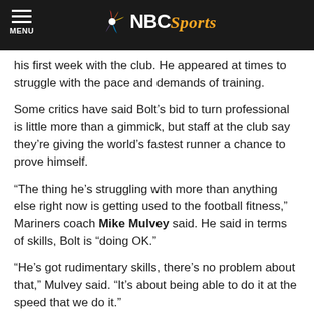NBC Sports
his first week with the club. He appeared at times to struggle with the pace and demands of training.
Some critics have said Bolt's bid to turn professional is little more than a gimmick, but staff at the club say they're giving the world's fastest runner a chance to prove himself.
“The thing he’s struggling with more than anything else right now is getting used to the football fitness,” Mariners coach Mike Mulvey said. He said in terms of skills, Bolt is “doing OK.”
“He’s got rudimentary skills, there’s no problem about that,” Mulvey said. “It’s about being able to do it at the speed that we do it.”
Bolt said he’s finding the nature of football training